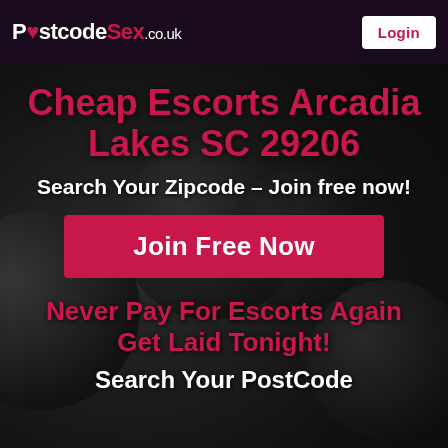PostcodeSex.co.uk  Login
Cheap Escorts Arcadia Lakes SC 29206
Search Your Zipcode – Join free now!
Join Free Now
Never Pay For Escorts Again
Get Laid Tonight!
Search Your PostCode